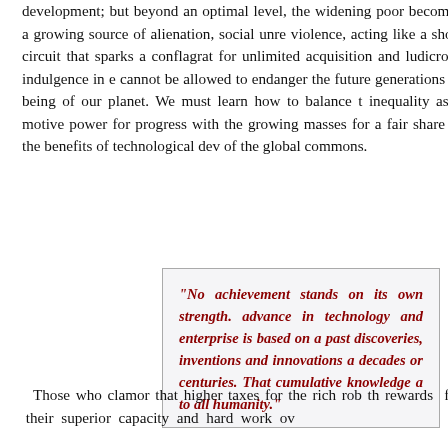development; but beyond an optimal level, the widening poor becomes a growing source of alienation, social unre violence, acting like a short circuit that sparks a conflagrat for unlimited acquisition and ludicrous indulgence in e cannot be allowed to endanger the future generations of being of our planet. We must learn how to balance t inequality as a motive power for progress with the growing masses for a fair share in the benefits of technological dev of the global commons.
“No achievement stands on its own strength. advance in technology and enterprise is based on a past discoveries, inventions and innovations a decades or centuries. That cumulative knowledge a to all humanity.”
Those who clamor that higher taxes for the rich rob th rewards for their superior capacity and hard work ov